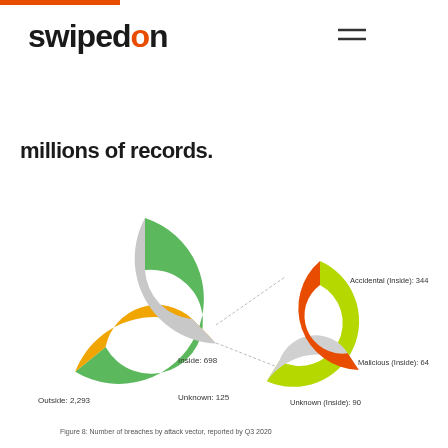swipedon
millions of records.
[Figure (donut-chart): Number of breaches by attack vector, reported by Q3 2020]
Figure 8: Number of breaches by attack vector, reported by Q3 2020